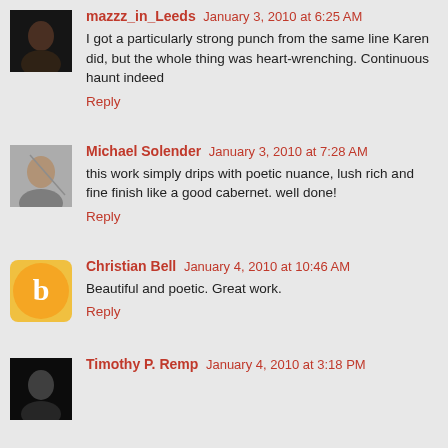mazzz_in_Leeds January 3, 2010 at 6:25 AM
I got a particularly strong punch from the same line Karen did, but the whole thing was heart-wrenching. Continuous haunt indeed
Reply
Michael Solender January 3, 2010 at 7:28 AM
this work simply drips with poetic nuance, lush rich and fine finish like a good cabernet. well done!
Reply
Christian Bell January 4, 2010 at 10:46 AM
Beautiful and poetic. Great work.
Reply
Timothy P. Remp January 4, 2010 at 3:18 PM